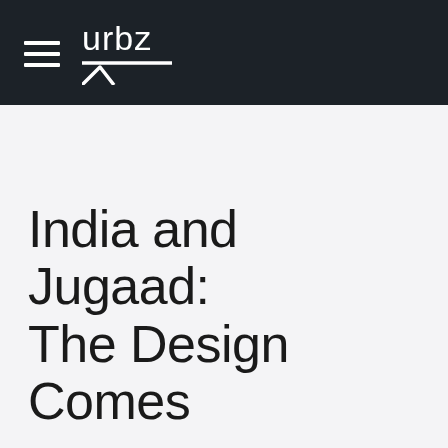urbz
India and Jugaad: The Design Comes